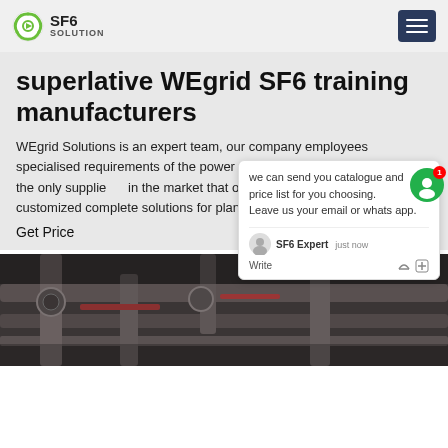SF6 SOLUTION
superlative WEgrid SF6 training manufacturers
WEgrid Solutions is an expert team, our company employees specialised requirements of the power transmission. WEgrid Solutions is the only supplier in the market that offers a complete product portfolio customized complete solutions for plants filled with SF 6 .
Get Price
[Figure (screenshot): Chat popup with message: we can send you catalogue and price list for you choosing. Leave us your email or whatsapp. Shows SF6 Expert agent with 'just now' timestamp and Write field with like/attach icons.]
[Figure (photo): Industrial equipment photo showing pipes, valves and machinery, partially visible at bottom of page.]